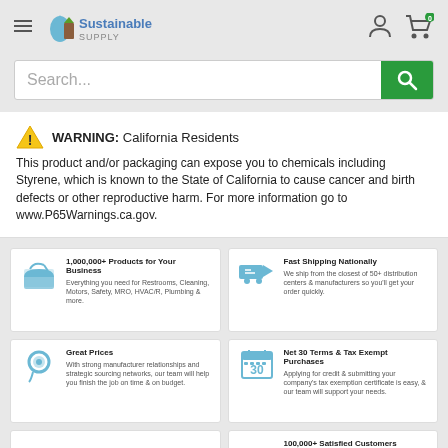Sustainable Supply
Search...
WARNING: California Residents
This product and/or packaging can expose you to chemicals including Styrene, which is known to the State of California to cause cancer and birth defects or other reproductive harm. For more information go to www.P65Warnings.ca.gov.
1,000,000+ Products for Your Business
Everything you need for Restrooms, Cleaning, Motors, Safety, MRO, HVAC/R, Plumbing & more.
Fast Shipping Nationally
We ship from the closest of 50+ distribution centers & manufacturers so you'll get your order quickly.
Great Prices
With strong manufacturer relationships and strategic sourcing networks, our team will help you finish the job on time & on budget.
Net 30 Terms & Tax Exempt Purchases
Applying for credit & submitting your company's tax exemption certificate is easy, & our team will support your needs.